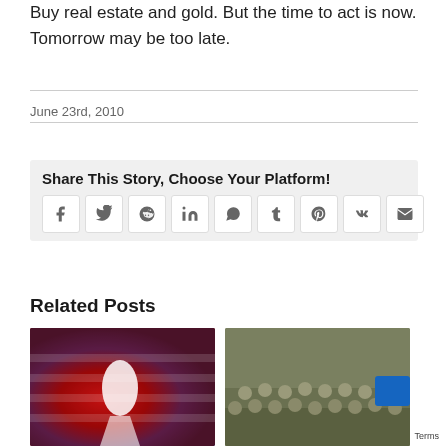Buy real estate and gold. But the time to act is now. Tomorrow may be too late.
June 23rd, 2010
Share This Story, Choose Your Platform!
[Figure (infographic): Social sharing buttons: Facebook, Twitter, Reddit, LinkedIn, WhatsApp, Tumblr, Pinterest, VK, Email]
Related Posts
[Figure (photo): American flag with dramatic lighting, person silhouette]
[Figure (photo): Soldiers in military uniform standing in formation]